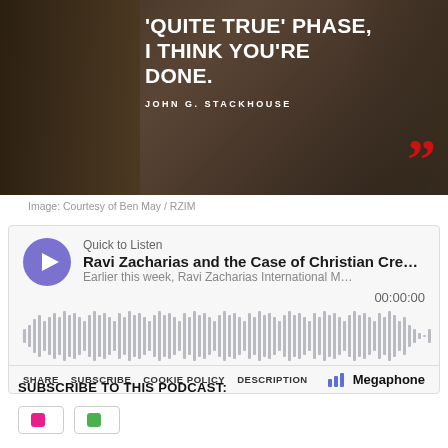[Figure (photo): Dark background image showing an audience/crowd from behind with large quote text overlay reading 'QUITE TRUE' PHASE, I THINK YOU'RE DONE.' attributed to John G. Stackhouse, with large red closing quotation marks in the bottom right corner]
Image: Courtesy of Ben May / RZIM
[Figure (screenshot): Megaphone audio podcast player widget. Title: 'Quick to Listen', Episode: 'Ravi Zacharias and the Case of Christian Cred...', Description: 'Earlier this week, Ravi Zacharias International M...', Time: 00:00:00, waveform displayed, controls: SHARE SUBSCRIBE COOKIE POLICY DESCRIPTION, Megaphone branding]
SUBSCRIBE TO THIS PODCAST:
[Figure (screenshot): Two subscribe buttons partially visible at bottom: one with pink icon and one with green icon]